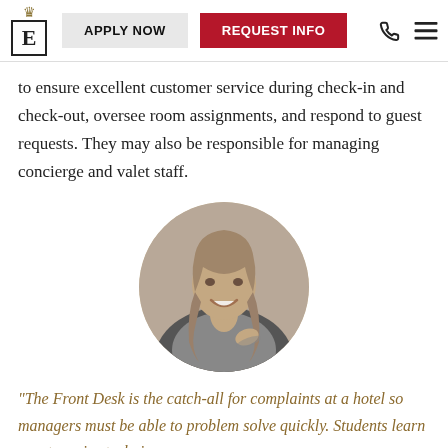E | APPLY NOW | REQUEST INFO
to ensure excellent customer service during check-in and check-out, oversee room assignments, and respond to guest requests. They may also be responsible for managing concierge and valet staff.
[Figure (photo): Circular black-and-white portrait photo of a smiling young woman with long hair.]
“The Front Desk is the catch-all for complaints at a hotel so managers must be able to problem solve quickly. Students learn guest service techniques on